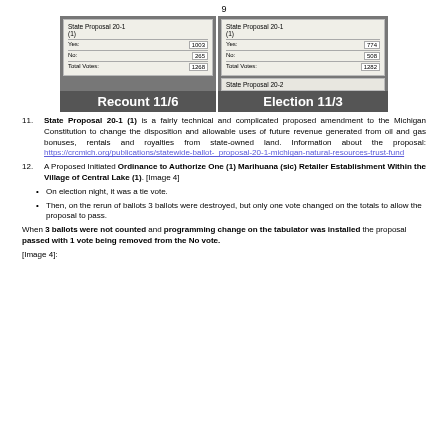9
[Figure (photo): Two side-by-side ballot tabulation images showing State Proposal 20-1 results. Left image labeled 'Recount 11/6' shows Yes: 1003, No: 265, Total Votes: 1268. Right image labeled 'Election 11/3' shows Yes: 774, No: 508, Total Votes: 1282, and a partial view of State Proposal 20-2.]
State Proposal 20-1 (1) is a fairly technical and complicated proposed amendment to the Michigan Constitution to change the disposition and allowable uses of future revenue generated from oil and gas bonuses, rentals and royalties from state-owned land. Information about the proposal: https://crcmich.org/publications/statewide-ballot-proposal-20-1-michigan-natural-resources-trust-fund
A Proposed Initiated Ordinance to Authorize One (1) Marihuana (sic) Retailer Establishment Within the Village of Central Lake (1). [Image 4]
On election night, it was a tie vote.
Then, on the rerun of ballots 3 ballots were destroyed, but only one vote changed on the totals to allow the proposal to pass.
When 3 ballots were not counted and programming change on the tabulator was installed the proposal passed with 1 vote being removed from the No vote.
[Image 4]: